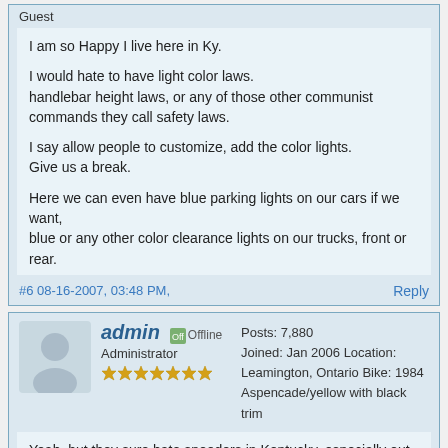Guest
I am so Happy I live here in Ky.

I would hate to have light color laws.
handlebar height laws, or any of those other communist commands they call safety laws.

I say allow people to customize, add the color lights.
Give us a break.

Here we can even have blue parking lights on our cars if we want,
blue or any other color clearance lights on our trucks, front or rear.
#6 08-16-2007, 03:48 PM,
Reply
admin [Offline]
Administrator
★★★★★★★
Posts: 7,880 Joined: Jan 2006 Location: Leamington, Ontario Bike: 1984 Aspencade/yellow with black trim
Yeah, but they sure hate speeders in Kentucky, especially out of state speeders. If we ever sit down for a coffee Jim remind